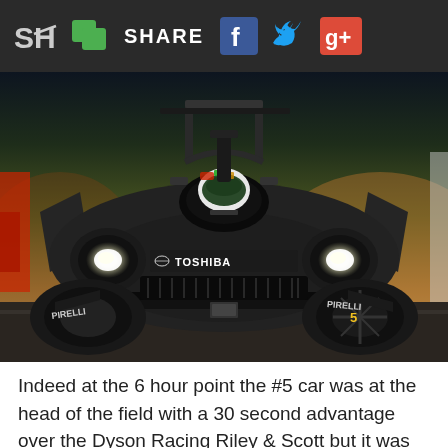SH | SHARE | [Facebook] [Twitter] [Google+]
[Figure (photo): A dark prototype racing car (Cadillac prototype) with Toshiba sponsorship on the nose, Pirelli tires, driver visible in cockpit wearing colorful helmet, photographed head-on at a race event with warm golden/orange ambient lighting in background.]
Indeed at the 6 hour point the #5 car was at the head of the field with a 30 second advantage over the Dyson Racing Riley & Scott but it was not to last. A series of problems with transmissions, brakes and suspension blunted the Cadillac challenge, but the team just kept